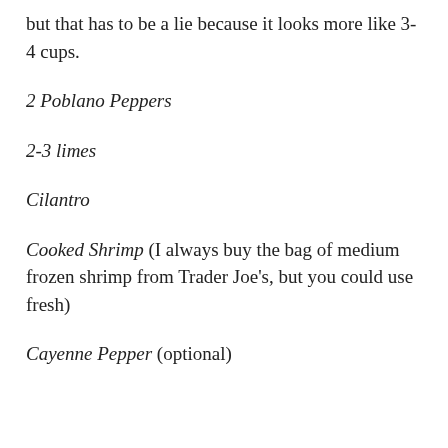but that has to be a lie because it looks more like 3-4 cups.
2 Poblano Peppers
2-3 limes
Cilantro
Cooked Shrimp (I always buy the bag of medium frozen shrimp from Trader Joe's, but you could use fresh)
Cayenne Pepper (optional)